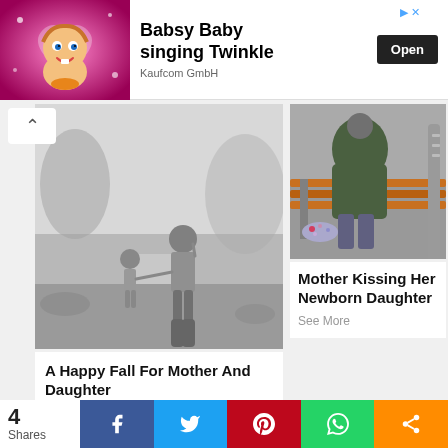[Figure (screenshot): Advertisement banner for Babsy Baby singing Twinkle app by Kaufcom GmbH with cartoon baby image and Open button]
[Figure (photo): Black and white photo of mother and young daughter walking hand in hand on a path in autumn]
A Happy Fall For Mother And Daughter
See More
[Figure (photo): Color photo of person in green coat sitting on a wooden bench, legs extended, with child's sparkly shoes visible]
Mother Kissing Her Newborn Daughter
See More
[Figure (photo): Outdoor photo with green hills/mountains in background, partially visible]
[Figure (photo): Partial black and white photo at bottom left]
4 Shares — Facebook, Twitter, Pinterest, WhatsApp, More share buttons